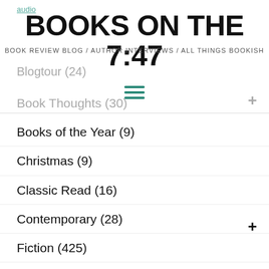audio... (link, faded teal)
BOOKS ON THE 7:47
BOOK REVIEW BLOG / AUTHOR INTERVIEWS / ALL THINGS BOOKISH
Blogtour (24)
Book Thoughts (30)
Books of the Year (9)
Christmas (9)
Classic Read (16)
Contemporary (28)
Fiction (425)
Interview (8)
Monthly Review (62)
...ther... (5)